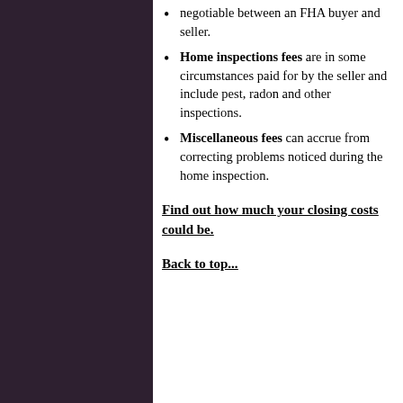negotiable between an FHA buyer and seller.
Home inspections fees are in some circumstances paid for by the seller and include pest, radon and other inspections.
Miscellaneous fees can accrue from correcting problems noticed during the home inspection.
Find out how much your closing costs could be.
Back to top...